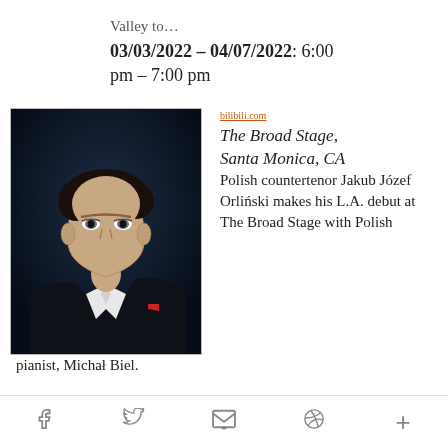Valley to...
03/03/2022 - 04/07/2022: 6:00 pm - 7:00 pm
[Figure (photo): Portrait photo of a young man in a dark suit with white shirt and red pocket square, photographed against a dark background. He has curly dark hair and is looking slightly to the side.]
bilibili.com
The Broad Stage, Santa Monica, CA
Polish countertenor Jakub Józef Orliński makes his L.A. debut at The Broad Stage with Polish pianist, Michał Biel.
f  Twitter  Email  Pinterest  +